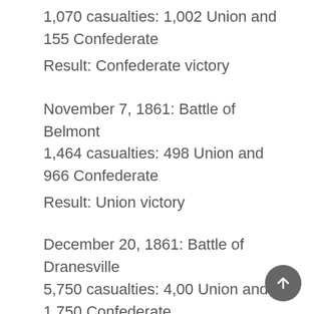1,070 casualties: 1,002 Union and 155 Confederate
Result: Confederate victory
November 7, 1861: Battle of Belmont
1,464 casualties: 498 Union and 966 Confederate
Result: Union victory
December 20, 1861: Battle of Dranesville
5,750 casualties: 4,00 Union and 1,750 Confederate
Result: Union victory
December 31, 1861: Camp Allegheny